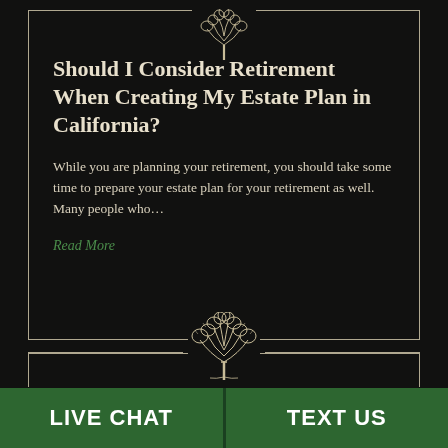[Figure (illustration): Ornate tree logo illustration in cream/beige lines on dark background, positioned at top center of card]
Should I Consider Retirement When Creating My Estate Plan in California?
While you are planning your retirement, you should take some time to prepare your estate plan for your retirement as well. Many people who…
Read More
[Figure (illustration): Ornate tree logo illustration in cream/beige lines on dark background, positioned at bottom center]
LIVE CHAT
TEXT US